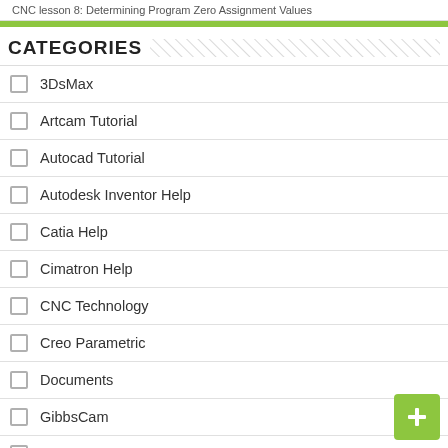CNC lesson 8: Determining Program Zero Assignment Values
CATEGORIES
3DsMax
Artcam Tutorial
Autocad Tutorial
Autodesk Inventor Help
Catia Help
Cimatron Help
CNC Technology
Creo Parametric
Documents
GibbsCam
Jdpaint Tutorial
Mastercam Help